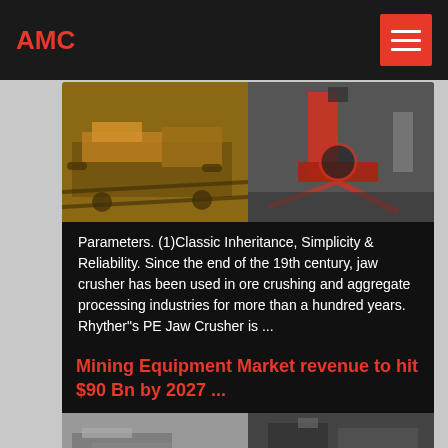AMC
[Figure (photo): Two photos side by side of mining/crushing equipment: left shows yellow ore crushing machinery on tracks, right shows red industrial crusher structure]
Parameters. (1)Classic Inheritance, Simplicity & Reliability. Since the end of the 19th century, jaw crusher has been used in ore crushing and aggregate processing industries for more than a hundred years. Rhyther"s PE Jaw Crusher is ...
Mining Equipment Market revenue to hit $90 Bn by 2027 ...
[Figure (photo): Two photos side by side showing mining equipment and machinery at a mining site]